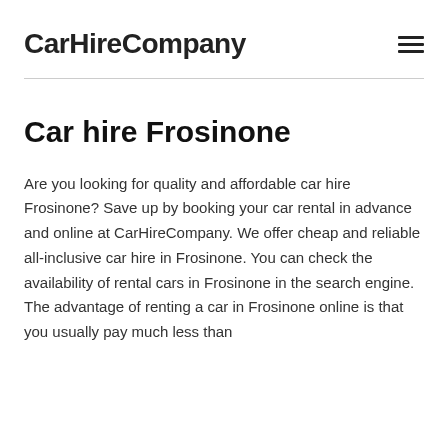CarHireCompany
Car hire Frosinone
Are you looking for quality and affordable car hire Frosinone? Save up by booking your car rental in advance and online at CarHireCompany. We offer cheap and reliable all-inclusive car hire in Frosinone. You can check the availability of rental cars in Frosinone in the search engine. The advantage of renting a car in Frosinone online is that you usually pay much less than